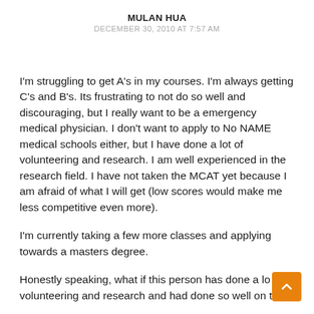MULAN HUA
DECEMBER 30, 2010 AT 7:57 AM
I'm struggling to get A's in my courses. I'm always getting C's and B's. Its frustrating to not do so well and discouraging, but I really want to be a emergency medical physician. I don't want to apply to No NAME medical schools either, but I have done a lot of volunteering and research. I am well experienced in the research field. I have not taken the MCAT yet because I am afraid of what I will get (low scores would make me less competitive even more).
I'm currently taking a few more classes and applying towards a masters degree.
Honestly speaking, what if this person has done a lot of volunteering and research and had done so well on the